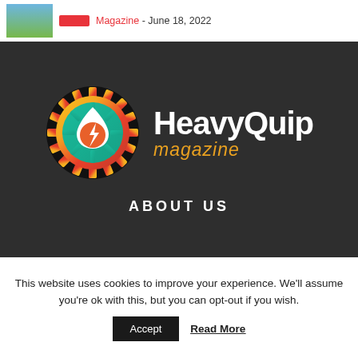Magazine - June 18, 2022
[Figure (logo): HeavyQuip Magazine logo on dark background with gear/flame icon and 'ABOUT US' label below]
This website uses cookies to improve your experience. We'll assume you're ok with this, but you can opt-out if you wish.
Accept  Read More